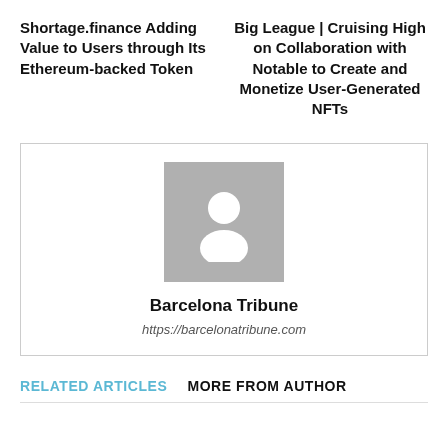Shortage.finance Adding Value to Users through Its Ethereum-backed Token
Big League | Cruising High on Collaboration with Notable to Create and Monetize User-Generated NFTs
[Figure (illustration): Default user avatar placeholder: grey square background with white silhouette of a person (head and shoulders)]
Barcelona Tribune
https://barcelonatribune.com
RELATED ARTICLES
MORE FROM AUTHOR